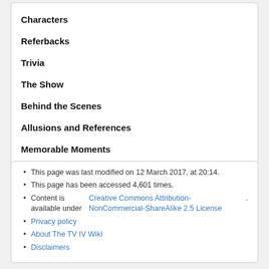Characters
Referbacks
Trivia
The Show
Behind the Scenes
Allusions and References
Memorable Moments
Quotes
This page was last modified on 12 March 2017, at 20:14.
This page has been accessed 4,601 times.
Content is available under Creative Commons Attribution-NonCommercial-ShareAlike 2.5 License.
Privacy policy
About The TV IV Wiki
Disclaimers